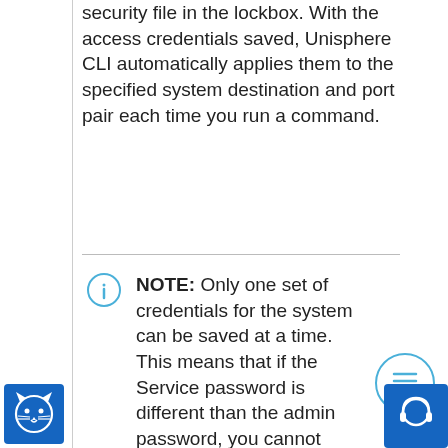security file in the lockbox. With the access credentials saved, Unisphere CLI automatically applies them to the specified system destination and port pair each time you run a command.
NOTE:  Only one set of credentials for the system can be saved at a time. This means that if the Service password is different than the admin password, you cannot access the CLI with the service
[Figure (logo): Blue square logo with a cat face icon (white on blue background)]
[Figure (other): Blue circle with a headphone/support icon]
[Figure (other): Light blue outlined circle with a list/TOC icon inside]
[Figure (other): Light blue outlined circle with an info 'i' icon]